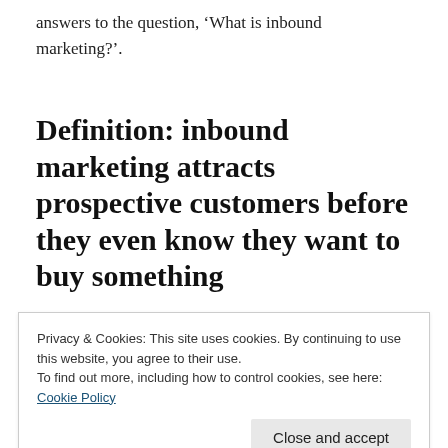answers to the question, ‘What is inbound marketing?’.
Definition: inbound marketing attracts prospective customers before they even know they want to buy something
Inbound marketing pulls customers in by providing stimulating content (visual, audio or
Privacy & Cookies: This site uses cookies. By continuing to use this website, you agree to their use.
To find out more, including how to control cookies, see here:
Cookie Policy
Close and accept
Inbound marketing is not the